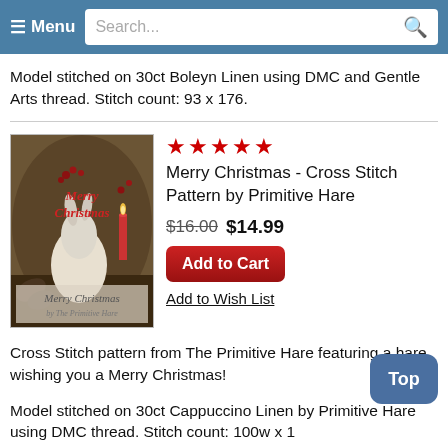≡ Menu | Search...
Model stitched on 30ct Boleyn Linen using DMC and Gentle Arts thread. Stitch count: 93 x 176.
[Figure (photo): Cross stitch product image showing a hare with Merry Christmas text on linen]
★★★★★
Merry Christmas - Cross Stitch Pattern by Primitive Hare
$16.00 $14.99
Add to Cart
Add to Wish List
Cross Stitch pattern from The Primitive Hare featuring a hare wishing you a Merry Christmas!
Model stitched on 30ct Cappuccino Linen by Primitive Hare using DMC thread. Stitch count: 100w x 1
[Figure (photo): Thumbnail of Hungry Hare Food Sack product]
Hungry Hare Food Sack